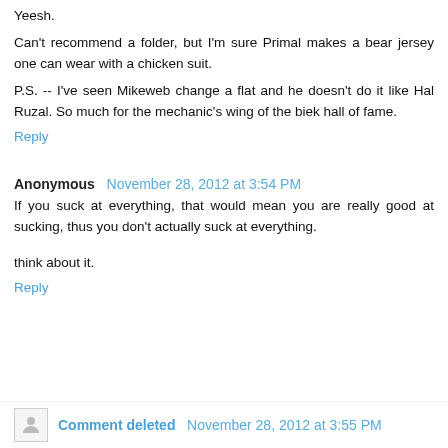Yeesh.
Can't recommend a folder, but I'm sure Primal makes a bear jersey one can wear with a chicken suit.
P.S. -- I've seen Mikeweb change a flat and he doesn't do it like Hal Ruzal. So much for the mechanic's wing of the biek hall of fame.
Reply
Anonymous  November 28, 2012 at 3:54 PM
If you suck at everything, that would mean you are really good at sucking, thus you don't actually suck at everything.
think about it.
Reply
Comment deleted  November 28, 2012 at 3:55 PM